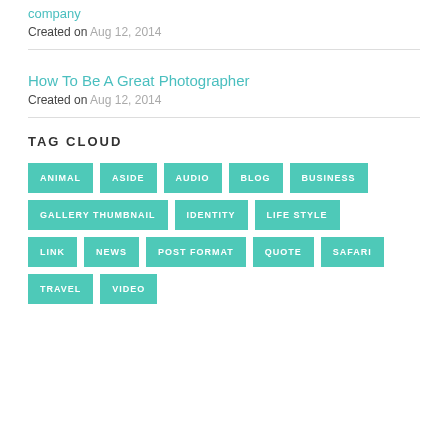company
Created on  Aug 12, 2014
How To Be A Great Photographer
Created on  Aug 12, 2014
TAG CLOUD
ANIMAL
ASIDE
AUDIO
BLOG
BUSINESS
GALLERY THUMBNAIL
IDENTITY
LIFE STYLE
LINK
NEWS
POST FORMAT
QUOTE
SAFARI
TRAVEL
VIDEO